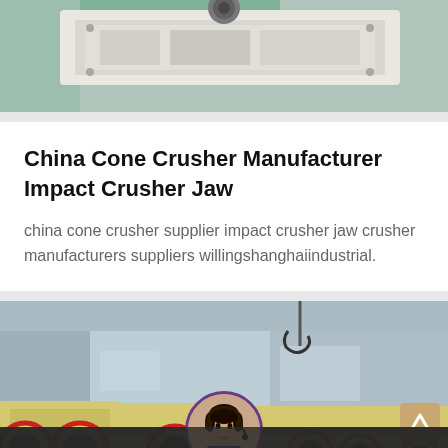[Figure (photo): Top portion of industrial machinery - appears to be a jaw crusher or similar equipment in a factory setting, showing white/cream colored metal housing with green background]
China Cone Crusher Manufacturer Impact Crusher Jaw
china cone crusher supplier impact crusher jaw crusher manufacturers suppliers willingshanghaiindustrial.
[Figure (photo): Industrial factory floor showing multiple jaw crusher machines with large yellow and red wheels/flywheels lined up, with a hook crane visible in the background, corrugated metal building]
Leave Message  Chat Online